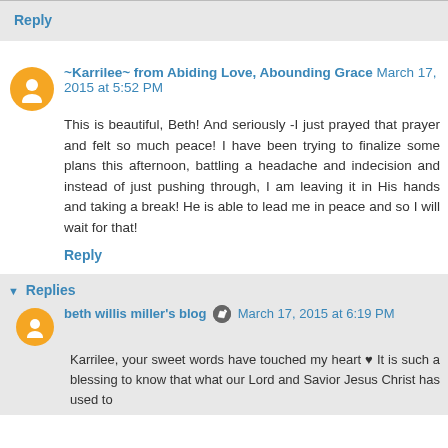Reply
~Karrilee~ from Abiding Love, Abounding Grace March 17, 2015 at 5:52 PM
This is beautiful, Beth! And seriously -I just prayed that prayer and felt so much peace! I have been trying to finalize some plans this afternoon, battling a headache and indecision and instead of just pushing through, I am leaving it in His hands and taking a break! He is able to lead me in peace and so I will wait for that!
Reply
Replies
beth willis miller's blog March 17, 2015 at 6:19 PM
Karrilee, your sweet words have touched my heart ♥ It is such a blessing to know that what our Lord and Savior Jesus Christ has used to